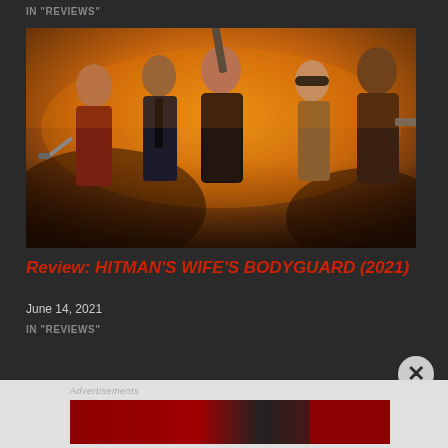IN "REVIEWS"
[Figure (photo): Movie poster for Hitman's Wife's Bodyguard (2021) showing five cast members against an orange/golden background, all holding weapons]
Review: HITMAN'S WIFE'S BODYGUARD (2021)
June 14, 2021
IN "REVIEWS"
[Figure (photo): Advertisement banner with dark red and black background, partially visible female figure]